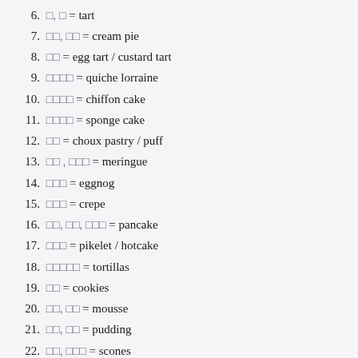6. □, □ = tart
7. □□, □□ = cream pie
8. □□ = egg tart / custard tart
9. □□□□ = quiche lorraine
10. □□□□ = chiffon cake
11. □□□□ = sponge cake
12. □□ = choux pastry / puff
13. □□ , □□□ = meringue
14. □□□ = eggnog
15. □□□ = crepe
16. □□, □□, □□□ = pancake
17. □□□ = pikelet / hotcake
18. □□□□□ = tortillas
19. □□ = cookies
20. □□, □□ = mousse
21. □□, □□ = pudding
22. □□, □□□ = scones
23. □□□ = souffles